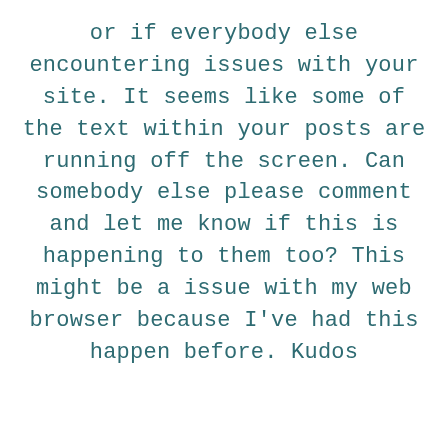or if everybody else encountering issues with your site. It seems like some of the text within your posts are running off the screen. Can somebody else please comment and let me know if this is happening to them too? This might be a issue with my web browser because I've had this happen before. Kudos